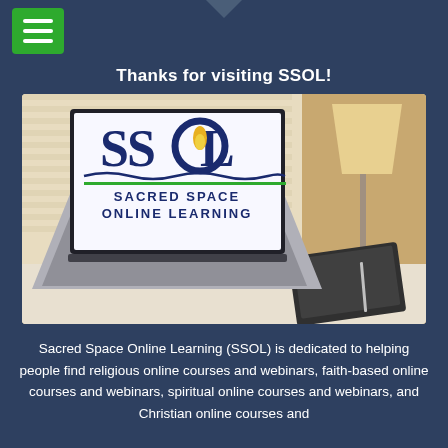[Figure (screenshot): Green hamburger menu button in top left corner of dark navy blue navigation bar, with a downward pointing arrow at the top center]
Thanks for visiting SSOL!
[Figure (photo): Laptop computer on a desk showing the SSOL (Sacred Space Online Learning) logo on screen, with text 'SACRED SPACE ONLINE LEARNING', lamp and clipboard visible in the background]
Sacred Space Online Learning (SSOL) is dedicated to helping people find religious online courses and webinars, faith-based online courses and webinars, spiritual online courses and webinars, and Christian online courses and